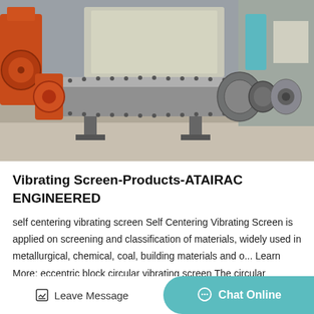[Figure (photo): Industrial ball mill machine (large horizontal cylindrical grinding vessel with bolted flanges and discharge end) on a factory floor, with orange machinery and equipment visible in the background.]
Vibrating Screen-Products-ATAIRAC ENGINEERED
self centering vibrating screen Self Centering Vibrating Screen is applied on screening and classification of materials, widely used in metallurgical, chemical, coal, building materials and o... Learn More; eccentric block circular vibrating screen The circular
Leave Message
Chat Online